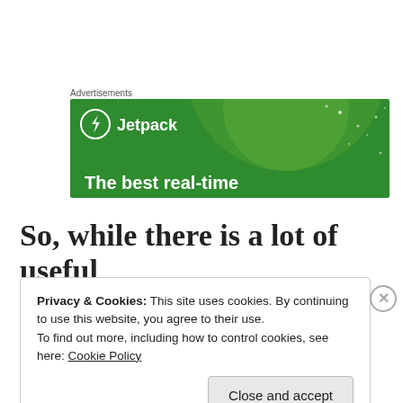Advertisements
[Figure (illustration): Jetpack advertisement banner with green background, circular light green globe shape, white dots, Jetpack logo with lightning bolt icon, and text 'The best real-time']
So, while there is a lot of useful
Privacy & Cookies: This site uses cookies. By continuing to use this website, you agree to their use. To find out more, including how to control cookies, see here: Cookie Policy
Close and accept